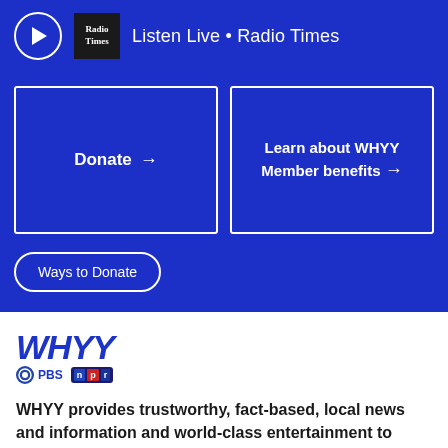Listen Live • Radio Times
Donate →
Learn about WHYY Member benefits →
Ways to Donate
[Figure (logo): WHYY logo with PBS and NPR badges]
WHYY provides trustworthy, fact-based, local news and information and world-class entertainment to